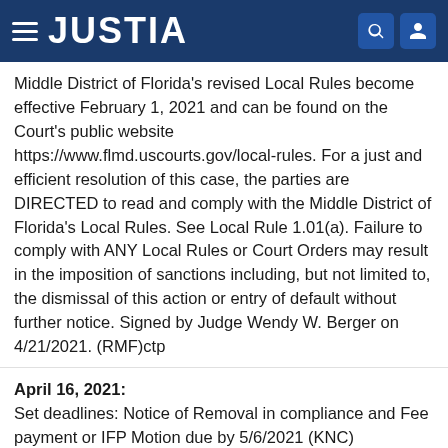JUSTIA
Middle District of Florida's revised Local Rules become effective February 1, 2021 and can be found on the Court's public website https://www.flmd.uscourts.gov/local-rules. For a just and efficient resolution of this case, the parties are DIRECTED to read and comply with the Middle District of Florida's Local Rules. See Local Rule 1.01(a). Failure to comply with ANY Local Rules or Court Orders may result in the imposition of sanctions including, but not limited to, the dismissal of this action or entry of default without further notice. Signed by Judge Wendy W. Berger on 4/21/2021. (RMF)ctp
April 16, 2021: Set deadlines: Notice of Removal in compliance and Fee payment or IFP Motion due by 5/6/2021 (KNC)